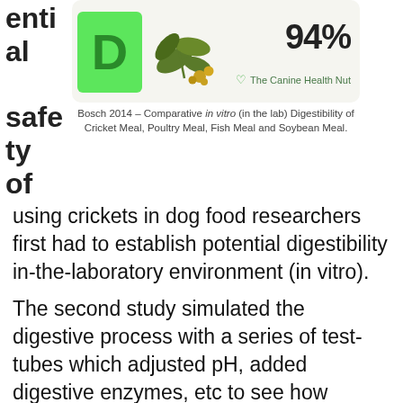[Figure (infographic): Infographic card showing a green box with letter D, a plant/soybean illustration, and 94% digestibility. Branded 'The Canine Health Nut'.]
Bosch 2014 – Comparative in vitro (in the lab) Digestibility of Cricket Meal, Poultry Meal, Fish Meal and Soybean Meal.
ential safety of using crickets in dog food researchers first had to establish potential digestibility in-the-laboratory environment (in vitro).
The second study simulated the digestive process with a series of test-tubes which adjusted pH, added digestive enzymes, etc to see how potentially digestible these insects were. Then they compared the potential digestibility of crickets to the values of known proteins